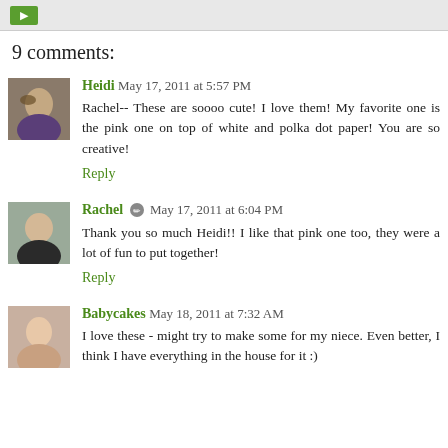9 comments:
Heidi May 17, 2011 at 5:57 PM
Rachel-- These are soooo cute! I love them! My favorite one is the pink one on top of white and polka dot paper! You are so creative!
Reply
Rachel May 17, 2011 at 6:04 PM
Thank you so much Heidi!! I like that pink one too, they were a lot of fun to put together!
Reply
Babycakes May 18, 2011 at 7:32 AM
I love these - might try to make some for my niece. Even better, I think I have everything in the house for it :)